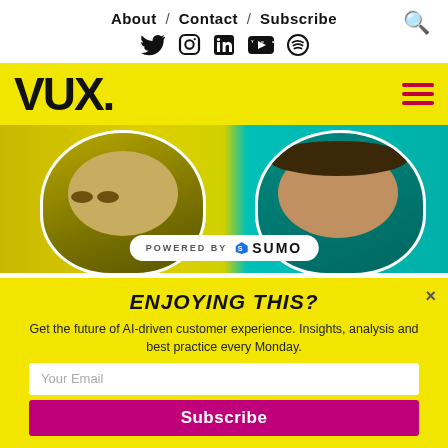About / Contact / Subscribe
[Figure (screenshot): Social media icons: Twitter, Instagram, LinkedIn, YouTube, Spotify]
[Figure (logo): VUX. logo in bold black text on yellow background with hamburger menu icon]
[Figure (photo): Podcast banner with two people's faces side by side, yellow and teal background, 'POWERED BY SUMO' badge]
ENJOYING THIS?
Get the future of AI-driven customer experience. Insights, analysis and best practice every Monday.
Your Email
Subscribe